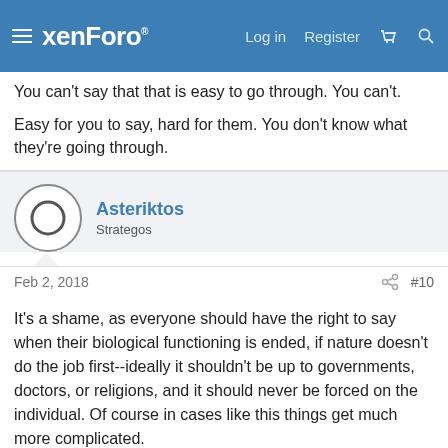xenForo | Log in | Register
You can't say that that is easy to go through. You can't.
Easy for you to say, hard for them. You don't know what they're going through.
Asteriktos
Strategos
Feb 2, 2018
#10
It's a shame, as everyone should have the right to say when their biological functioning is ended, if nature doesn't do the job first--ideally it shouldn't be up to governments, doctors, or religions, and it should never be forced on the individual. Of course in cases like this things get much more complicated.
Ainnir
Merarches  Staff member  Moderator